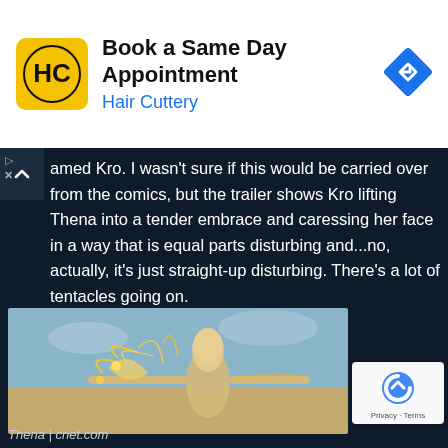[Figure (screenshot): Hair Cuttery advertisement banner with yellow logo featuring HC letters, title 'Book a Same Day Appointment', subtitle 'Hair Cuttery' in blue, and blue navigation diamond icon on right]
amed Kro. I wasn't sure if this would be carried over from the comics, but the trailer shows Kro lifting Thena into a tender embrace and caressing her face in a way that is equal parts disturbing and...no, actually, it's just straight-up disturbing. There's a lot of tentacles going on.
[Figure (photo): Thena character from Eternals Marvel movie standing on a beach with arms outstretched, golden energy/lightning effects around her, blonde hair, wearing beige/gold costume]
Thena | cnet.com